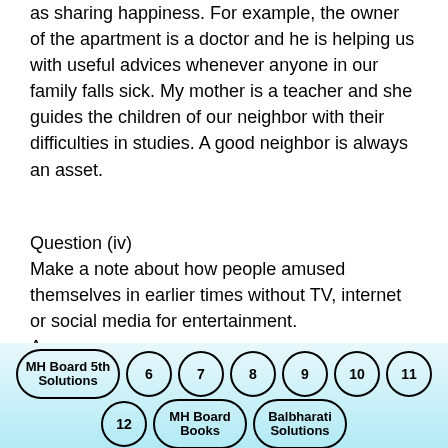as sharing happiness. For example, the owner of the apartment is a doctor and he is helping us with useful advices whenever anyone in our family falls sick. My mother is a teacher and she guides the children of our neighbor with their difficulties in studies. A good neighbor is always an asset.
Question (iv)
Make a note about how people amused themselves in earlier times without TV, internet or social media for entertainment.
Answer:
In earlier times when TV, internet and social media did not make people slaves of these
MH Board 5th Solutions  6  7  8  9  10  11  12  MH Board Books  Balbharati Solutions